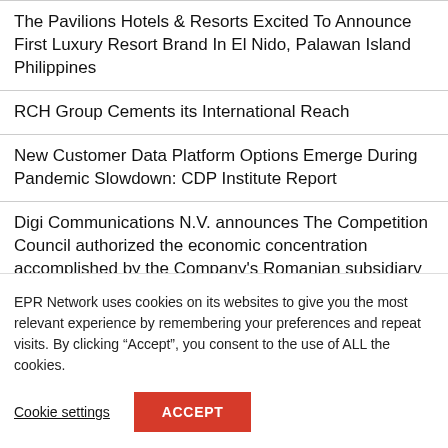The Pavilions Hotels & Resorts Excited To Announce First Luxury Resort Brand In El Nido, Palawan Island Philippines
RCH Group Cements its International Reach
New Customer Data Platform Options Emerge During Pandemic Slowdown: CDP Institute Report
Digi Communications N.V. announces The Competition Council authorized the economic concentration accomplished by the Company's Romanian subsidiary („RCS&RDS”) by gaining control over some of the
EPR Network uses cookies on its websites to give you the most relevant experience by remembering your preferences and repeat visits. By clicking “Accept”, you consent to the use of ALL the cookies.
Cookie settings | ACCEPT